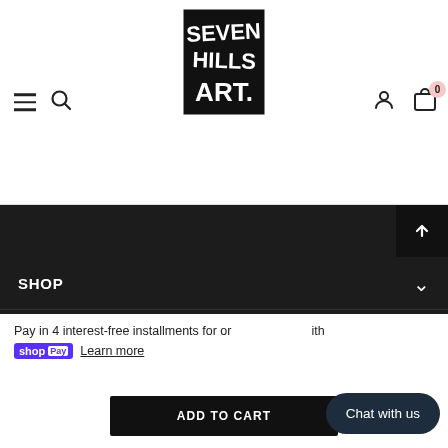[Figure (logo): Seven Hills Art logo — black square with handwritten white text reading SEVEN HILLS ART.]
Navigation header with hamburger menu, search icon, Seven Hills Art logo, account icon, and cart with 0 items
SHOP
LEARN
CUSTOMER SERVICE
Pay in 4 interest-free installments for orders over $50 with shop Pay Learn more
ADD TO CART
Chat with us